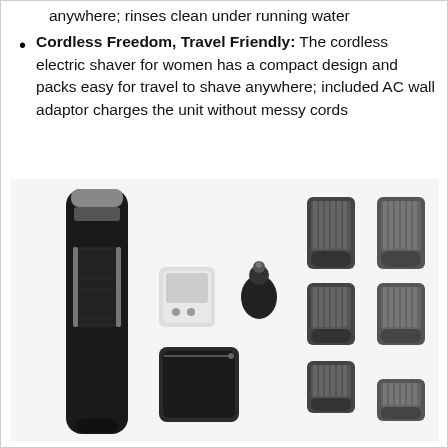anywhere; rinses clean under running water
Cordless Freedom, Travel Friendly: The cordless electric shaver for women has a compact design and packs easy for travel to shave anywhere; included AC wall adaptor charges the unit without messy cords
[Figure (photo): A grooming kit product photo showing a black cordless trimmer/shaver with chrome accents, various attachments including a detail trimmer head, nose/ear trimmer, black zipper pouch, and six comb attachments of varying sizes, all arranged on a white background.]